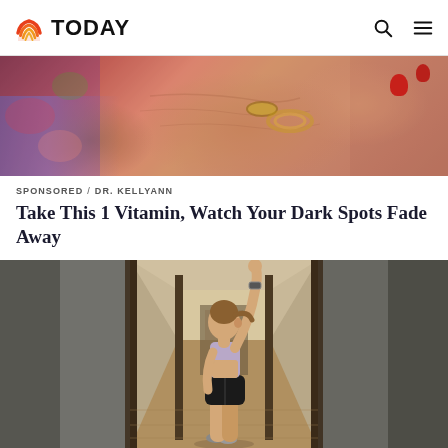TODAY
[Figure (photo): Close-up photo of elderly hands with red painted fingernails wearing gold bracelets/rings, resting on colorful floral fabric]
SPONSORED / DR. KELLYANN
Take This 1 Vitamin, Watch Your Dark Spots Fade Away
[Figure (photo): Woman in athletic wear (light purple sports bra and black shorts) standing in a home hallway with one arm raised, appearing to exercise or dance]